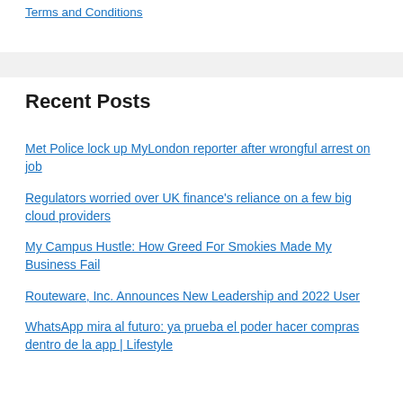Terms and Conditions
Recent Posts
Met Police lock up MyLondon reporter after wrongful arrest on job
Regulators worried over UK finance's reliance on a few big cloud providers
My Campus Hustle: How Greed For Smokies Made My Business Fail
Routeware, Inc. Announces New Leadership and 2022 User
WhatsApp mira al futuro: ya prueba el poder hacer compras dentro de la app | Lifestyle